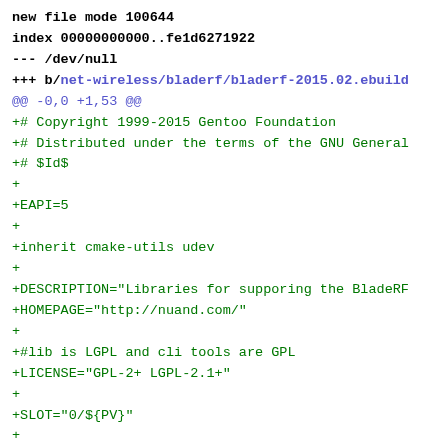new file mode 100644
index 00000000000..fe1d6271922
--- /dev/null
+++ b/net-wireless/bladerf/bladerf-2015.02.ebuild
@@ -0,0 +1,53 @@
+# Copyright 1999-2015 Gentoo Foundation
+# Distributed under the terms of the GNU General
+# $Id$
+
+EAPI=5
+
+inherit cmake-utils udev
+
+DESCRIPTION="Libraries for supporing the BladeRF
+HOMEPAGE="http://nuand.com/"
+
+#lib is LGPL and cli tools are GPL
+LICENSE="GPL-2+ LGPL-2.1+"
+
+SLOT="0/${PV}"
+